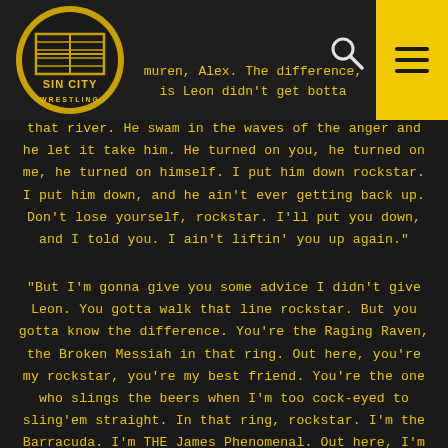[Figure (logo): Sin City Wrestling logo - circular emblem with gold/yellow and black coloring showing a wrestling ring graphic with 'SIN CITY WRESTLING' text]
muren, Alex. The difference, is Leon didn't get botta that river. He swam in the waves of the anger and he let it take him. He turned on you, he turned on me, he turned on himself. I put him down rockstar. I put him down, and he ain't ever getting back up. Don't lose yourself, rockstar. I'll put you down, and I told you. I ain't liftin' you up again."
"But I'm gonna give you some advice I didn't give Leon. You gotta walk that line rockstar. But you gotta know the difference. You're the Raging Raven, the Broken Messiah in that ring. Out here, you're my rockstar, you're my best friend. You're the one who slings the beers when I'm too cock-eyed to sling'em straight. In that ring, rockstar. I'm the Barracuda. I'm THE James Phenomenal. Out here, I'm just me, rockstar. I'm the